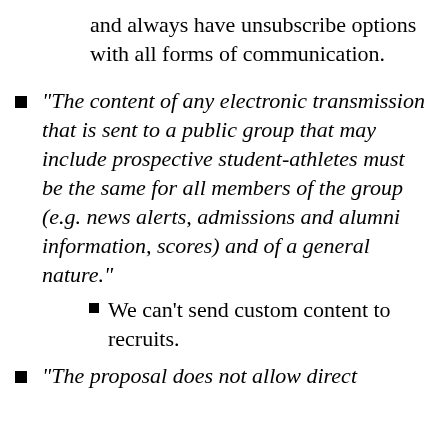and always have unsubscribe options with all forms of communication.
“The content of any electronic transmission that is sent to a public group that may include prospective student-athletes must be the same for all members of the group (e.g. news alerts, admissions and alumni information, scores) and of a general nature.”
We can’t send custom content to recruits.
“The proposal does not allow direct